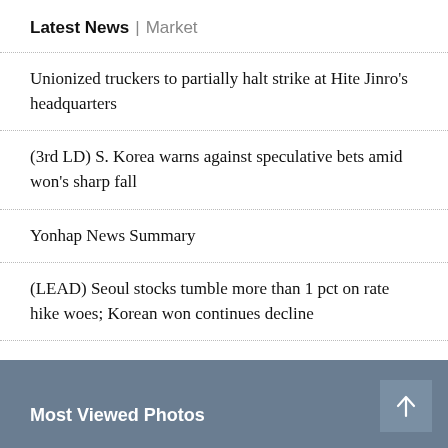Latest News | Market
Unionized truckers to partially halt strike at Hite Jinro's headquarters
(3rd LD) S. Korea warns against speculative bets amid won's sharp fall
Yonhap News Summary
(LEAD) Seoul stocks tumble more than 1 pct on rate hike woes; Korean won continues decline
S. Korean Bond Yields on Aug. 23, 2022
Most Viewed Photos